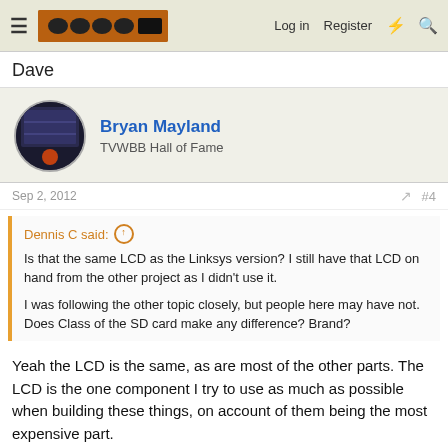Log in  Register
Dave
Bryan Mayland
TVWBB Hall of Fame
Sep 2, 2012  #4
Dennis C said: ↑
Is that the same LCD as the Linksys version? I still have that LCD on hand from the other project as I didn't use it.
I was following the other topic closely, but people here may have not. Does Class of the SD card make any difference? Brand?
Yeah the LCD is the same, as are most of the other parts. The LCD is the one component I try to use as much as possible when building these things, on account of them being the most expensive part.